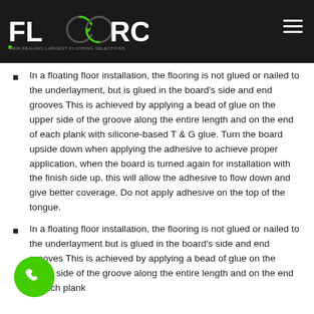FLOORCO — NEW ZEALAND LARGEST FLOORING SELECTIONS
In a floating floor installation, the flooring is not glued or nailed to the underlayment, but is glued in the board's side and end grooves This is achieved by applying a bead of glue on the upper side of the groove along the entire length and on the end of each plank with silicone-based T & G glue. Turn the board upside down when applying the adhesive to achieve proper application, when the board is turned again for installation with the finish side up, this will allow the adhesive to flow down and give better coverage. Do not apply adhesive on the top of the tongue.
In a floating floor installation, the flooring is not glued or nailed to the underlayment but is glued in the board's side and end grooves This is achieved by applying a bead of glue on the upper side of the groove along the entire length and on the end of each plank